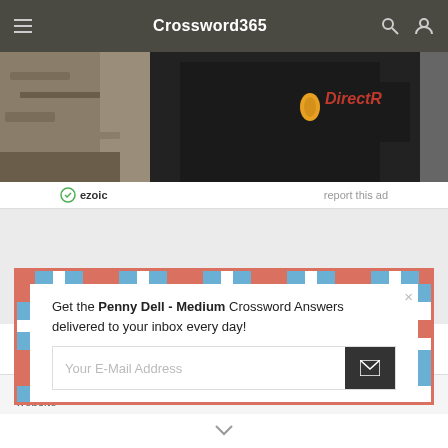Crossword365
[Figure (photo): Advertisement photo showing a person in a black t-shirt with DirectR logo/branding visible]
ezoic   report this ad
Get the Penny Dell - Medium Crossword Answers delivered to your inbox every day!
Your E-Mail Address
This website uses cookies to ensure you get the best experience on our website